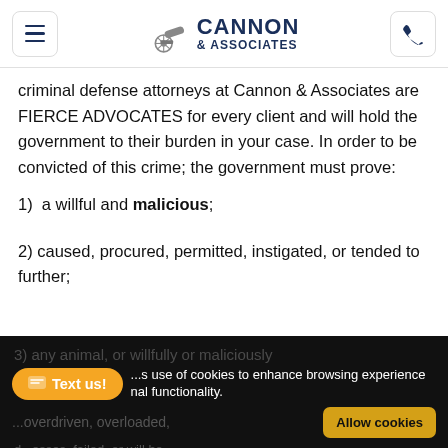CANNON & ASSOCIATES
criminal defense attorneys at Cannon & Associates are FIERCE ADVOCATES for every client and will hold the government to their burden in your case. In order to be convicted of this crime; the government must prove:
1)  a willful and malicious;
2) caused, procured, permitted, instigated, or tended to further;
Text us! | ...s use of cookies to enhance browsing experience | nal functionality. | ...overdriven, overloaded... | Allow cookies